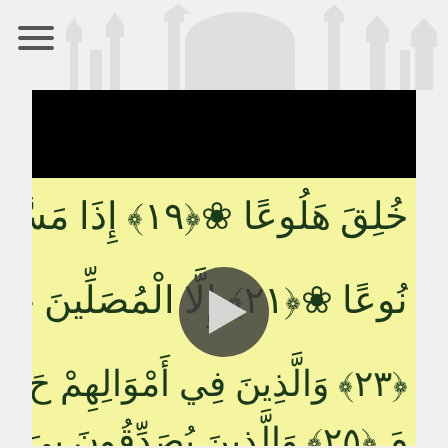Navigation header with mosque skyline silhouette and menu icon
[Figure (screenshot): Screenshot of a Quran recitation video showing Arabic text from Surah Al-Ma'arij (verses 19-25) on a yellow background, with a video play button overlay. Arabic text visible: verse 19 (هَلُوعًا), verse 21 (إِلَّا الْمُصَلِّينَ), verse 23 (وَالَّذِينَ فِي أَمْوَالِهِمْ), verse 25 (وَالَّذِينَ يُصَدِّقُونَ). Black bar at top of video.]